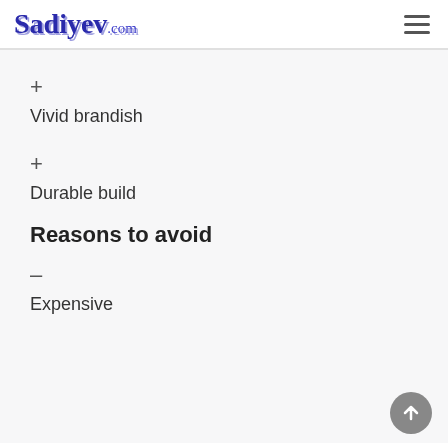Sadiyev.com
+
Vivid brandish
+
Durable build
Reasons to avoid
–
Expensive